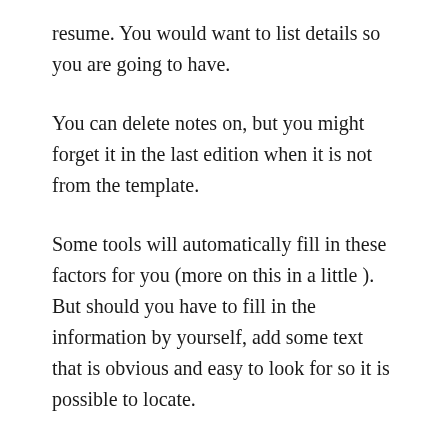resume. You would want to list details so you are going to have.
You can delete notes on, but you might forget it in the last edition when it is not from the template.
Some tools will automatically fill in these factors for you (more on this in a little ). But should you have to fill in the information by yourself, add some text that is obvious and easy to look for so it is possible to locate.